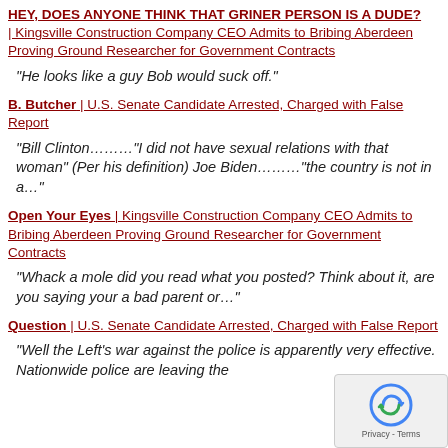HEY, DOES ANYONE THINK THAT GRINER PERSON IS A DUDE? | Kingsville Construction Company CEO Admits to Bribing Aberdeen Proving Ground Researcher for Government Contracts
“He looks like a guy Bob would suck off.”
B. Butcher | U.S. Senate Candidate Arrested, Charged with False Report
“Bill Clinton………“I did not have sexual relations with that woman” (Per his definition) Joe Biden……….“the country is not in a…”
Open Your Eyes | Kingsville Construction Company CEO Admits to Bribing Aberdeen Proving Ground Researcher for Government Contracts
“Whack a mole did you read what you posted? Think about it, are you saying your a bad parent or…”
Question | U.S. Senate Candidate Arrested, Charged with False Report
“Well the Left’s war against the police is apparently very effective. Nationwide police are leaving the